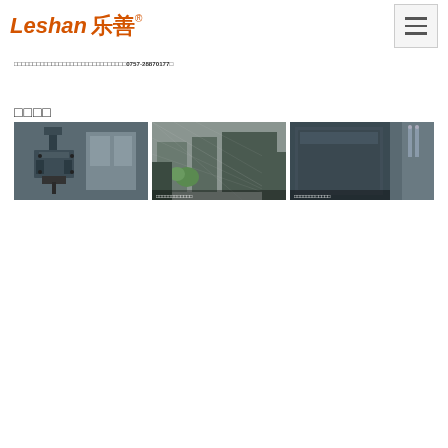Leshan 乐善®
□□□□□□□□□□□□□□□□□□□□□□□□□□□□□□0757-28870177□
□□□□
[Figure (photo): Three industrial machinery photos showing manufacturing equipment: left - close-up of a metal machining/drilling unit, center - factory floor with machinery and netting, right - large industrial sheet metal equipment or press]
[Figure (photo): Center industrial photo - factory with machinery]
[Figure (photo): Right industrial photo - large sheet metal equipment]